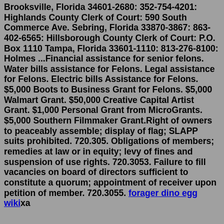Brooksville, Florida 34601-2680: 352-754-4201: Highlands County Clerk of Court: 590 South Commerce Ave. Sebring, Florida 33870-3867: 863-402-6565: Hillsborough County Clerk of Court: P.O. Box 1110 Tampa, Florida 33601-1110: 813-276-8100: Holmes ...Financial assistance for senior felons. Water bills assistance for Felons. Legal assistance for Felons. Electric bills Assistance for Felons. $5,000 Boots to Business Grant for Felons. $5,000 Walmart Grant. $50,000 Creative Capital Artist Grant. $1,000 Personal Grant from MicroGrants. $5,000 Southern Filmmaker Grant.Right of owners to peaceably assemble; display of flag; SLAPP suits prohibited. 720.305. Obligations of members; remedies at law or in equity; levy of fines and suspension of use rights. 720.3053. Failure to fill vacancies on board of directors sufficient to constitute a quorum; appointment of receiver upon petition of member. 720.3055. forager dino egg wikixa